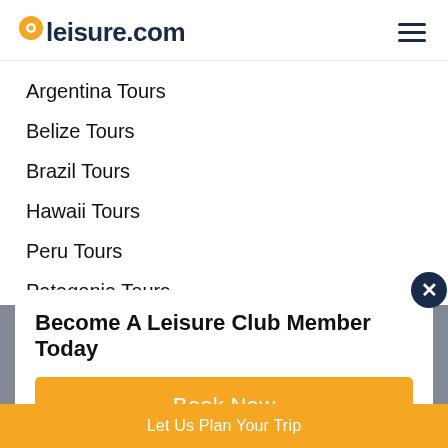leisure.com
Argentina Tours
Belize Tours
Brazil Tours
Hawaii Tours
Peru Tours
Patagonia Tours
Chile Tours
Cancun Tours
Become A Leisure Club Member Today
Book Now
Let Us Plan Your Trip